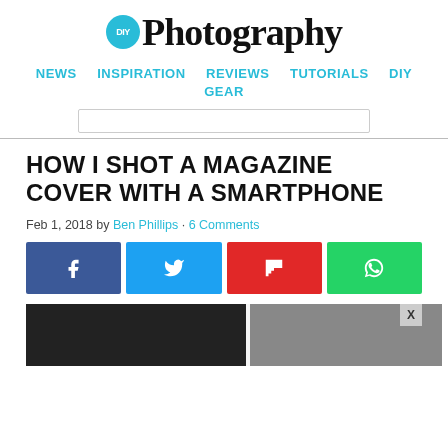DIYPhotography
NEWS  INSPIRATION  REVIEWS  TUTORIALS  DIY  GEAR
HOW I SHOT A MAGAZINE COVER WITH A SMARTPHONE
Feb 1, 2018 by Ben Phillips · 6 Comments
[Figure (other): Social share buttons: Facebook, Twitter, Flipboard, WhatsApp]
[Figure (other): Advertisement banner with X close button and two image panels]